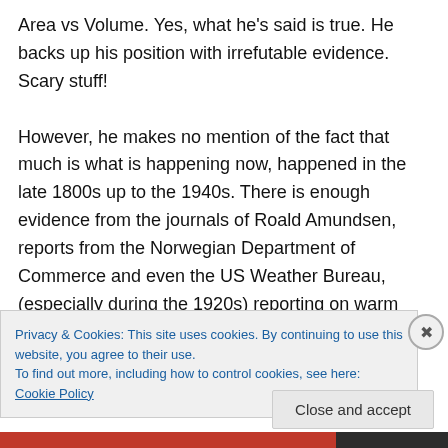Area vs Volume. Yes, what he's said is true. He backs up his position with irrefutable evidence. Scary stuff! However, he makes no mention of the fact that much is what is happening now, happened in the late 1800s up to the 1940s. There is enough evidence from the journals of Roald Amundsen, reports from the Norwegian Department of Commerce and even the US Weather Bureau, (especially during the 1920s) reporting on warm waters, unusual fish movements, ice melting and
Privacy & Cookies: This site uses cookies. By continuing to use this website, you agree to their use. To find out more, including how to control cookies, see here: Cookie Policy
Close and accept